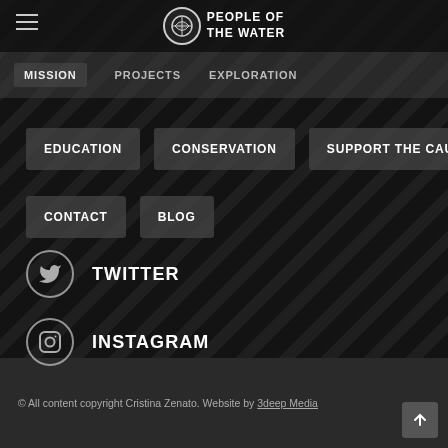PEOPLE OF THE WATER
MISSION
PROJECTS
EXPLORATION
EDUCATION
CONSERVATION
SUPPORT THE CAUSE
CONTACT
BLOG
TWITTER
INSTAGRAM
© All content copyright Cristina Zenato. Website by 3deep Media